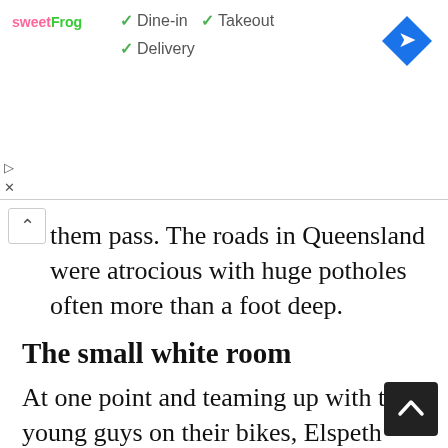[Figure (screenshot): Advertisement banner for sweetFrog showing checkmarks for Dine-in, Takeout, and Delivery options, with a navigation arrow icon on the right]
them pass. The roads in Queensland were atrocious with huge potholes often more than a foot deep.
The small white room
At one point and teaming up with two young guys on their bikes, Elspeth remembers riding ahead – and then woke up in a small white room! She had hit one of the potholes and the bike had somersaulted over her several times